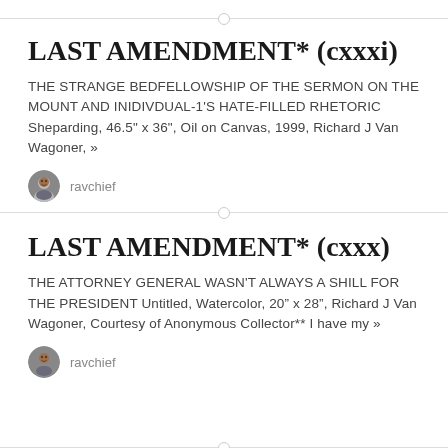LAST AMENDMENT* (cxxxi)
THE STRANGE BEDFELLOWSHIP OF THE SERMON ON THE MOUNT AND INIDIVDUAL-1'S HATE-FILLED RHETORIC Sheparding, 46.5" x 36", Oil on Canvas, 1999, Richard J Van Wagoner, »
ravchief
LAST AMENDMENT* (cxxx)
THE ATTORNEY GENERAL WASN'T ALWAYS A SHILL FOR THE PRESIDENT Untitled, Watercolor, 20" x 28", Richard J Van Wagoner, Courtesy of Anonymous Collector** I have my »
ravchief